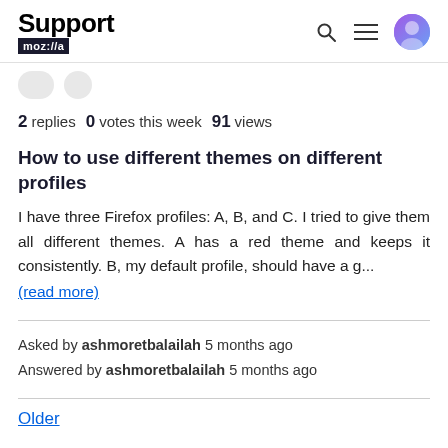Support moz://a
2 replies  0 votes this week  91 views
How to use different themes on different profiles
I have three Firefox profiles: A, B, and C. I tried to give them all different themes. A has a red theme and keeps it consistently. B, my default profile, should have a g... (read more)
Asked by ashmoretbalailah 5 months ago
Answered by ashmoretbalailah 5 months ago
Older